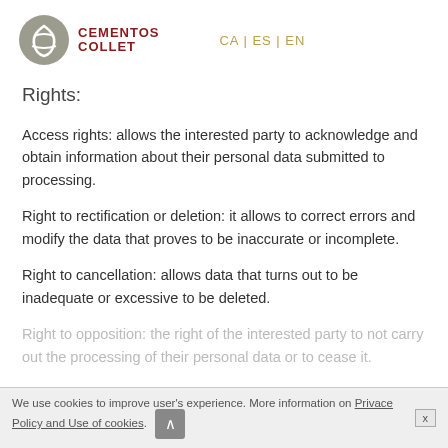CEMENTOS COLLET | CA | ES | EN
Rights:
Access rights: allows the interested party to acknowledge and obtain information about their personal data submitted to processing.
Right to rectification or deletion: it allows to correct errors and modify the data that proves to be inaccurate or incomplete.
Right to cancellation: allows data that turns out to be inadequate or excessive to be deleted.
Right to opposition: the right of the interested party to not carry out the processing of their personal data or to cease it.
We use cookies to improve user's experience. More information on Privace Policy and Use of cookies.